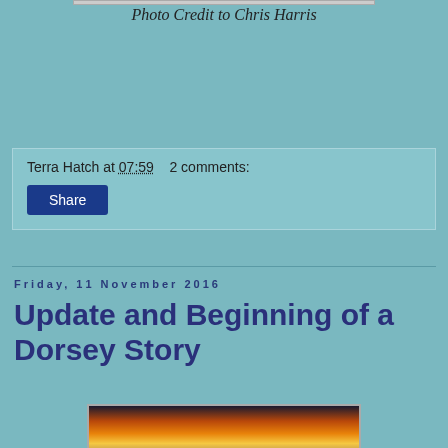Photo Credit to Chris Harris
Terra Hatch at 07:59    2 comments:
Share
Friday, 11 November 2016
Update and Beginning of a Dorsey Story
[Figure (photo): Sunset or sunrise photo with orange and yellow sky and silhouetted landscape]